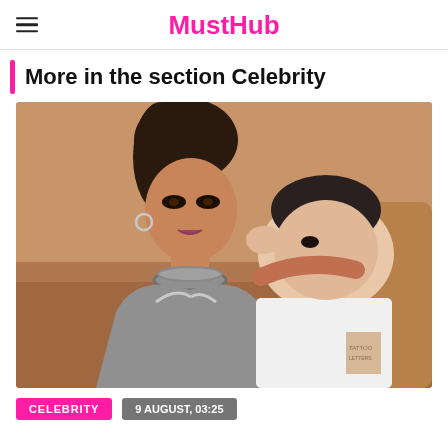MustHub
More in the section Celebrity
[Figure (photo): A woman with dark hair in an updo wearing a silver metallic outfit and chunky silver necklace, leaning close to a man in a white t-shirt who appears to be kissing her cheek, seated on a tan/brown cushioned surface.]
CELEBRITY
9 AUGUST, 03:25